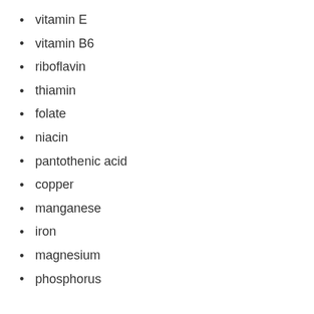vitamin E
vitamin B6
riboflavin
thiamin
folate
niacin
pantothenic acid
copper
manganese
iron
magnesium
phosphorus